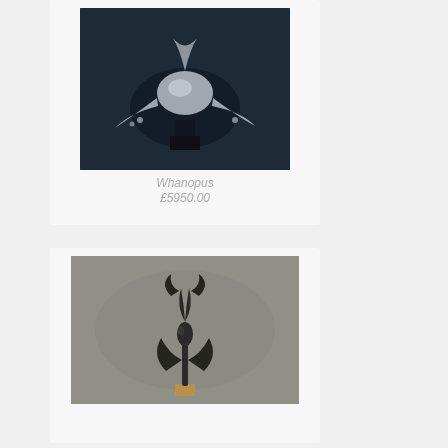[Figure (photo): Silver metallic sculpture of a whale with outstretched fins/tentacles mounted on a dark rectangular base, photographed against a dark background]
Whanopus
£5950.00
[Figure (photo): Dark bronze abstract sculpture with crescent and flame-like forms on a small wooden base, photographed against a grey textured background]